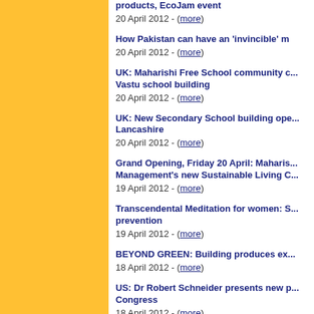products, EcoJam event
20 April 2012 - (more)
How Pakistan can have an 'invincible' m...
20 April 2012 - (more)
UK: Maharishi Free School community c... Vastu school building
20 April 2012 - (more)
UK: New Secondary School building ope... Lancashire
20 April 2012 - (more)
Grand Opening, Friday 20 April: Maharis... Management's new Sustainable Living C...
19 April 2012 - (more)
Transcendental Meditation for women: S... prevention
19 April 2012 - (more)
BEYOND GREEN: Building produces ex...
18 April 2012 - (more)
US: Dr Robert Schneider presents new p... Congress
18 April 2012 - (more)
A Brain-Based Approach to Peace - Frida...